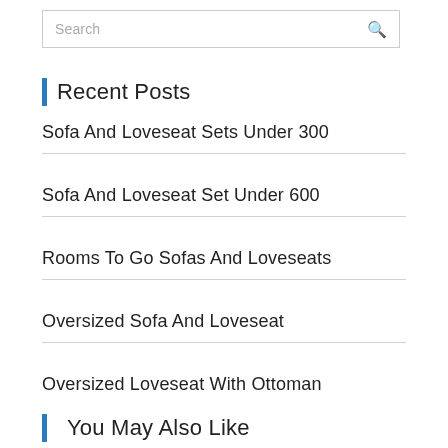Search
Recent Posts
Sofa And Loveseat Sets Under 300
Sofa And Loveseat Set Under 600
Rooms To Go Sofas And Loveseats
Oversized Sofa And Loveseat
Oversized Loveseat With Ottoman
You May Also Like